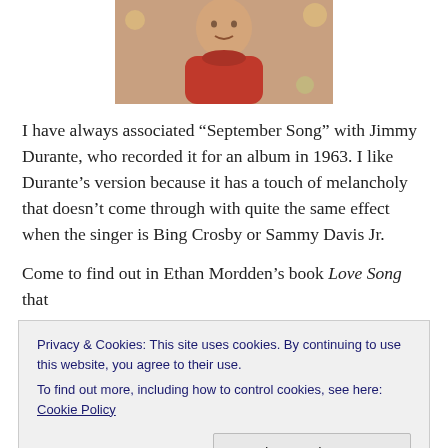[Figure (photo): Close-up photo of an elderly person wearing a red turtleneck sweater, with a floral background.]
I have always associated “September Song” with Jimmy Durante, who recorded it for an album in 1963. I like Durante’s version because it has a touch of melancholy that doesn’t come through with quite the same effect when the singer is Bing Crosby or Sammy Davis Jr.
Come to find out in Ethan Mordden’s book Love Song that
Privacy & Cookies: This site uses cookies. By continuing to use this website, you agree to their use.
To find out more, including how to control cookies, see here: Cookie Policy
Holiday and he more or less insisted that he should have a